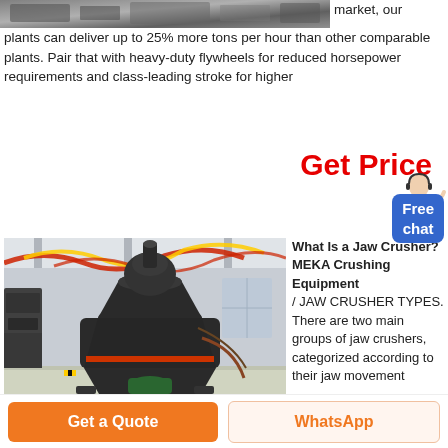[Figure (photo): Partial top image of industrial crushing equipment, gray industrial machinery]
market, our plants can deliver up to 25% more tons per hour than other comparable plants. Pair that with heavy-duty flywheels for reduced horsepower requirements and class-leading stroke for higher
Get Price
[Figure (photo): Large industrial vertical crusher/mill machine in a factory/warehouse setting with red and yellow decorative streamers in background]
What Is a Jaw Crusher? MEKA Crushing Equipment / JAW CRUSHER TYPES. There are two main groups of jaw crushers, categorized according to their jaw movement
Free chat
Get a Quote
WhatsApp